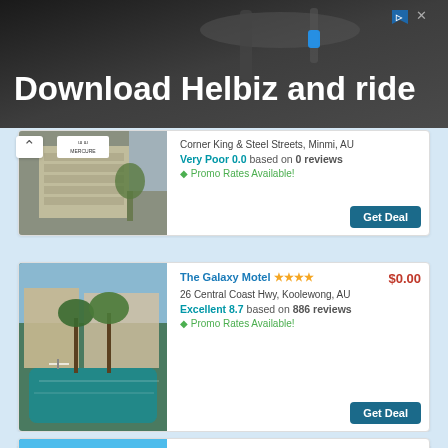[Figure (photo): Advertisement banner for Helbiz scooter app with dark background and scooter handlebar image]
Download Helbiz and ride
[Figure (photo): Hotel building exterior - Mercure hotel with sign]
Corner King & Steel Streets, Minmi, AU
Very Poor 0.0 based on 0 reviews
♦ Promo Rates Available!
Get Deal
[Figure (photo): The Galaxy Motel - outdoor pool surrounded by tropical trees]
The Galaxy Motel ★★★★
$0.00
26 Central Coast Hwy, Koolewong, AU
Excellent 8.7 based on 886 reviews
♦ Promo Rates Available!
Get Deal
[Figure (photo): Mercure Kooindah Waters Central Coast - pool area with blue sky]
Mercure Kooindah Waters Central Coast
★★★★
$139.00
40 Kooindah Boulevard, Wyong, Wyong, AU
Good 7.6 based on 627 reviews
♦ Promo Rates Available!